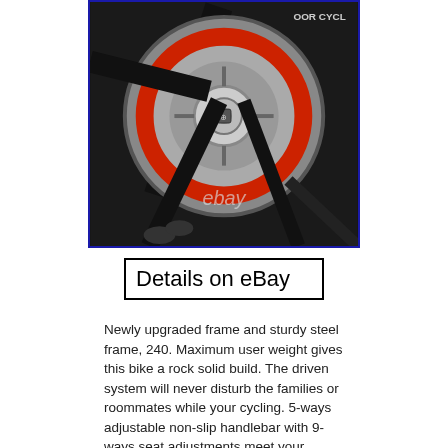[Figure (photo): Close-up photo of an indoor cycling bike flywheel and frame, showing a large silver/grey flywheel with red accent ring, black frame and pedal crank. An eBay watermark is visible. Blue border around the image.]
Details on eBay
Newly upgraded frame and sturdy steel frame, 240. Maximum user weight gives this bike a rock solid build. The driven system will never disturb the families or roommates while your cycling. 5-ways adjustable non-slip handlebar with 9-ways seat adjustments meet your deifferent needs. There is also a